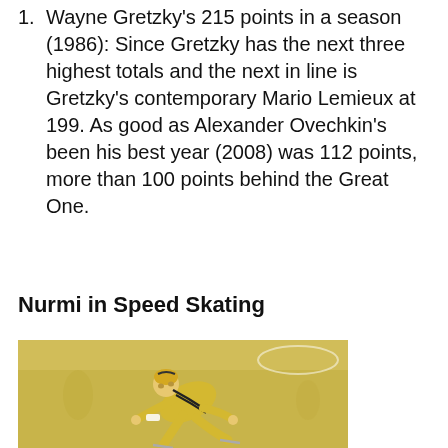Wayne Gretzky's 215 points in a season (1986): Since Gretzky has the next three highest totals and the next in line is Gretzky's contemporary Mario Lemieux at 199. As good as Alexander Ovechkin's been his best year (2008) was 112 points, more than 100 points behind the Great One.
Nurmi in Speed Skating
[Figure (photo): A speed skater wearing a gold/yellow skin-tight suit with black decorative stripes, leaning forward in a skating pose on an indoor rink.]